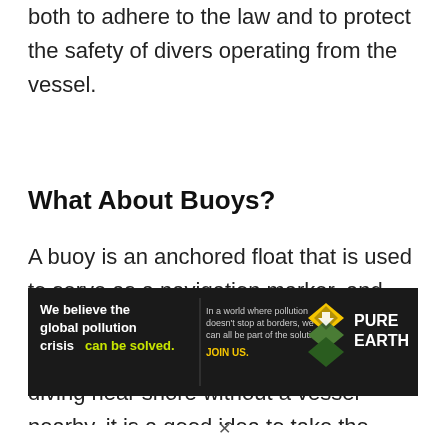both to adhere to the law and to protect the safety of divers operating from the vessel.
What About Buoys?
A buoy is an anchored float that is used to serve as a navigation marker, and they are sometimes deployed in areas where divers are operating. If you are diving near shore without a vessel nearby, it is a good idea to take the precaution to
[Figure (infographic): Advertisement banner for Pure Earth: 'We believe the global pollution crisis can be solved. In a world where pollution doesn't stop at borders, we can all be part of the solution. JOIN US.' with Pure Earth logo.]
x